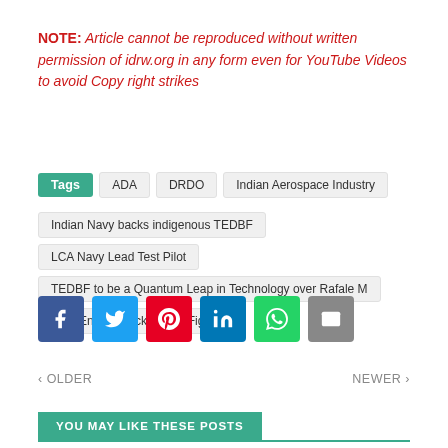NOTE: Article cannot be reproduced without written permission of idrw.org in any form even for YouTube Videos to avoid Copy right strikes
Tags | ADA | DRDO | Indian Aerospace Industry | Indian Navy backs indigenous TEDBF | LCA Navy Lead Test Pilot | TEDBF to be a Quantum Leap in Technology over Rafale M | Twin Engine Deck Based Fighter
[Figure (infographic): Social share buttons: Facebook, Twitter, Pinterest, LinkedIn, WhatsApp, Email]
< OLDER   NEWER >
YOU MAY LIKE THESE POSTS